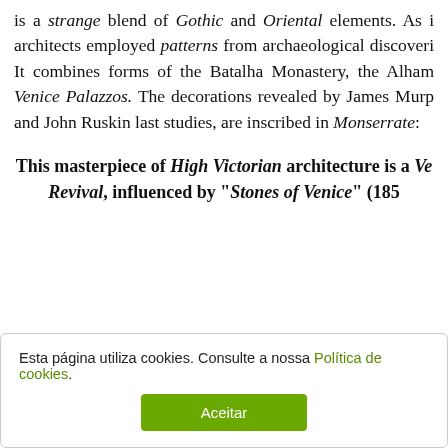is a strange blend of Gothic and Oriental elements. As i architects employed patterns from archaeological discoveri It combines forms of the Batalha Monastery, the Alham Venice Palazzos. The decorations revealed by James Murp and John Ruskin last studies, are inscribed in Monserrate:
This masterpiece of High Victorian architecture is a Ve Revival, influenced by "Stones of Venice" (185
Esta página utiliza cookies. Consulte a nossa Política de cookies.
Aceitar